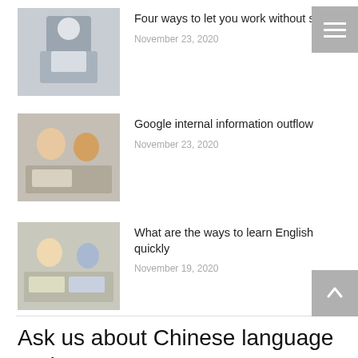[Figure (photo): Young man holding a laptop, standing against grey background]
Four ways to let you work without stress
November 23, 2020
[Figure (photo): Two people working together at a desk with laptop]
Google internal information outflow
November 23, 2020
[Figure (photo): Children studying and writing at desks in classroom]
What are the ways to learn English quickly
November 19, 2020
Ask us about Chinese language and